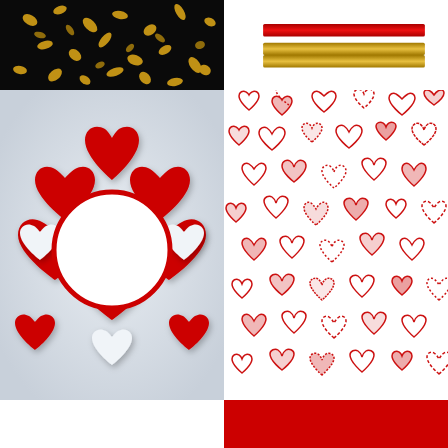[Figure (illustration): Gold confetti/flowers scattered on a black background, Valentine themed]
[Figure (illustration): Three horizontal decorative stripes: red gradient on top, gold gradient in middle, red gradient on bottom]
[Figure (illustration): Paper-cut style red and white 3D hearts arranged around a white circular frame on a light gray background]
[Figure (illustration): Hand-drawn sketched red hearts of various styles and sizes on white background, seamless pattern]
[Figure (illustration): Three red roses with green leaves and a red bow ribbon at bottom, with text 'Happy Valentine's Day!' in red italic]
[Figure (illustration): Red background with white gift box outline containing a white heart and decorative bow ribbon on top]